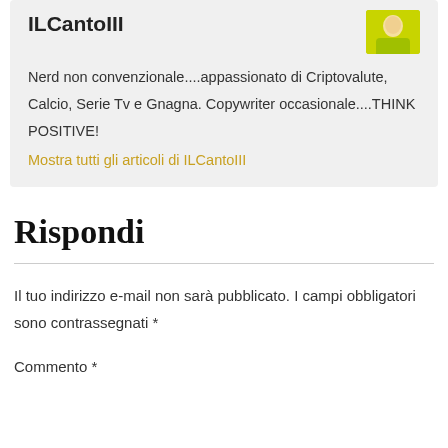ILCantoIII
[Figure (photo): Author avatar photo — person in yellow/green hoodie]
Nerd non convenzionale....appassionato di Criptovalute, Calcio, Serie Tv e Gnagna. Copywriter occasionale....THINK POSITIVE!
Mostra tutti gli articoli di ILCantoIII
Rispondi
Il tuo indirizzo e-mail non sarà pubblicato. I campi obbligatori sono contrassegnati *
Commento *